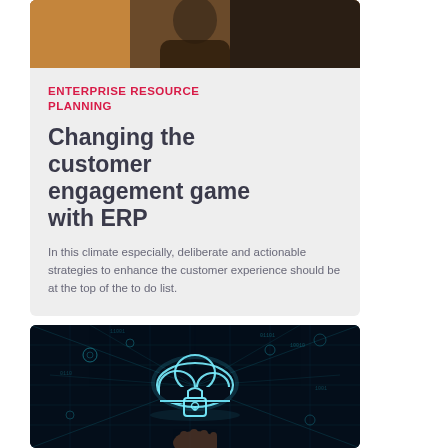[Figure (photo): Photo of a person in dark clothing against an orange/dark background, partially visible at top]
ENTERPRISE RESOURCE PLANNING
Changing the customer engagement game with ERP
In this climate especially, deliberate and actionable strategies to enhance the customer experience should be at the top of the to do list.
[Figure (photo): Digital technology image showing a glowing cloud icon with a padlock, surrounded by network connections and circuit patterns, with a hand touching the display]